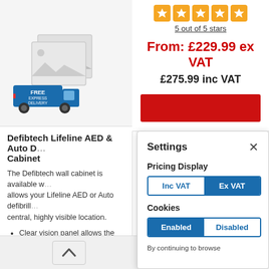[Figure (photo): Product image placeholder with grey background showing two overlapping image placeholder icons, and a blue delivery van with 'FREE EXPRESS DELIVERY' text overlay in the bottom left]
Defibtech Lifeline AED & Auto D... Cabinet
The Defibtech wall cabinet is available w... allows your Lifeline AED or Auto defibrill... central, highly visible location.
Clear vision panel allows the defibrilla... times
Alarmed version sounds when the do...
[Figure (other): Star rating display showing 5 golden star icons in square badges]
5 out of 5 stars
From: £229.99 ex VAT
£275.99 inc VAT
[Figure (screenshot): Settings modal panel with Pricing Display toggle (Inc VAT / Ex VAT) and Cookies toggle (Enabled / Disabled), with close X button]
Settings
Pricing Display
Inc VAT
Ex VAT
Cookies
Enabled
Disabled
By continuing to browse